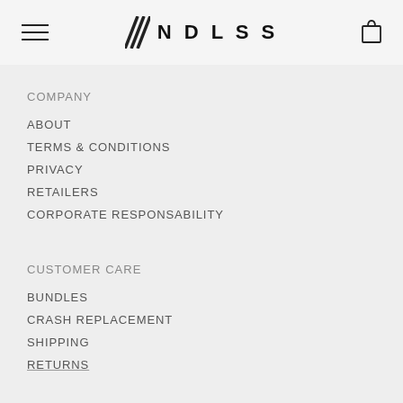NDLSS navigation header with hamburger menu and bag icon
COMPANY
ABOUT
TERMS & CONDITIONS
PRIVACY
RETAILERS
CORPORATE RESPONSABILITY
CUSTOMER CARE
BUNDLES
CRASH REPLACEMENT
SHIPPING
RETURNS